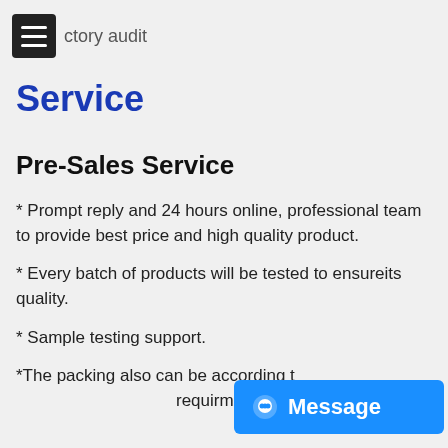8≡ ctory audit
Service
Pre-Sales Service
* Prompt reply and 24 hours online, professional team to provide best price and high quality product.
* Every batch of products will be tested to ensureits quality.
* Sample testing support.
*The packing also can be according t requirment.